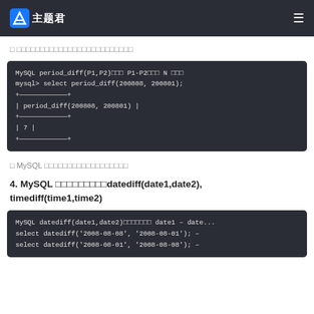主题君
□ □□□□□□□□□□□□□□□□□□□□□□□□□
[Figure (screenshot): MySQL code block showing period_diff(P1,P2) function usage with output: MySQL period_diff(P1,P2)□□□ P1-P2□□□ N □□□, mysql> select period_diff(200808, 200801); result table showing period_diff(200808, 200801) = 7]
□ MySQL □□□□□□□□□□□□□□□□□□
4. MySQL □□□□□□□□□datediff(date1,date2), timediff(time1,time2)
[Figure (screenshot): MySQL code block showing datediff(date1,date2) function: MySQL datediff(date1,date2)□□□□□□□ date1 - date..., select datediff('2008-08-08', '2008-08-01'); --, select datediff('2008-08-01', '2008-08-08'); --]